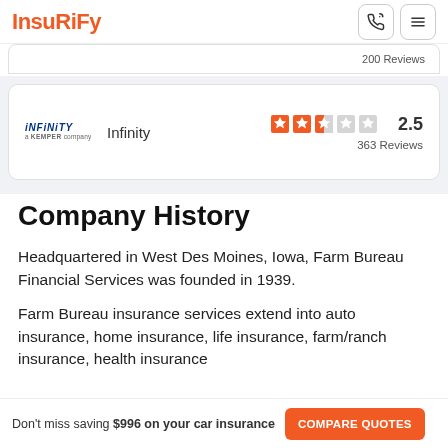INSURIFY
200 Reviews
[Figure (logo): Infinity by Kemper logo with company name]
Infinity  2.5  363 Reviews
Company History
Headquartered in West Des Moines, Iowa, Farm Bureau Financial Services was founded in 1939.
Farm Bureau insurance services extend into auto insurance, home insurance, life insurance, farm/ranch insurance, health insurance
Don't miss saving $996 on your car insurance  COMPARE QUOTES